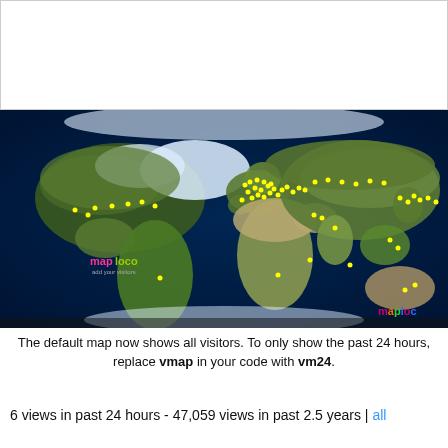[Figure (map): World map with yellow dots indicating visitor locations, concentrated heavily in Europe, North America, and parts of Asia. Map has dark blue ocean background with satellite-style land imagery. 'maploco' watermark visible in bottom-right corner and 'map loco' logo in lower-left area of the map.]
The default map now shows all visitors. To only show the past 24 hours, replace vmap in your code with vm24.
6 views in past 24 hours - 47,059 views in past 2.5 years | all time